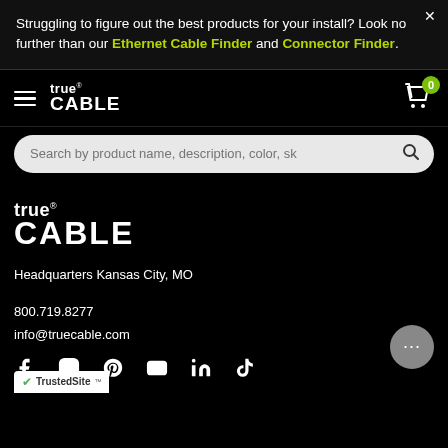Struggling to figure out the best products for your install? Look no further than our Ethernet Cable Finder and Connector Finder.
[Figure (screenshot): True Cable website navigation bar with hamburger menu, logo, cart icon with badge showing 0]
[Figure (screenshot): Search bar with placeholder text: Search by product name, description, color, sk]
[Figure (logo): True Cable footer logo]
Headquarters Kansas City, MO
800.719.8277
info@truecable.com
[Figure (infographic): Social media icons row: Facebook, Instagram, Pinterest, YouTube, LinkedIn, TikTok]
[Figure (logo): TrustedSite badge with green checkmark]